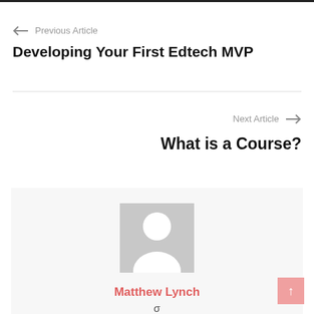← Previous Article
Developing Your First Edtech MVP
Next Article →
What is a Course?
[Figure (illustration): Generic user avatar placeholder — grey rectangle with white silhouette of a person]
Matthew Lynch
σ